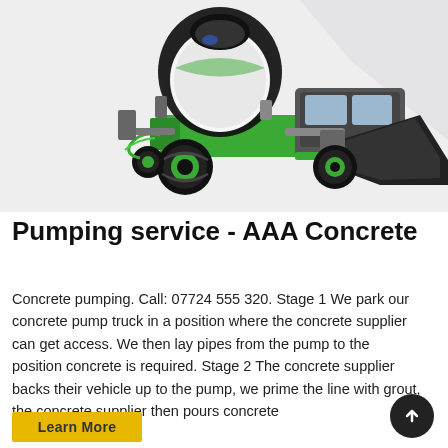[Figure (photo): Green self-loading concrete mixer truck with black drum and front loading bucket, on a light grey background]
Pumping service - AAA Concrete
Concrete pumping. Call: 07724 555 320. Stage 1 We park our concrete pump truck in a position where the concrete supplier can get access. We then lay pipes from the pump to the position concrete is required. Stage 2 The concrete supplier backs their vehicle up to the pump, we prime the line with grout, the concrete supplier then pours concrete
Learn More